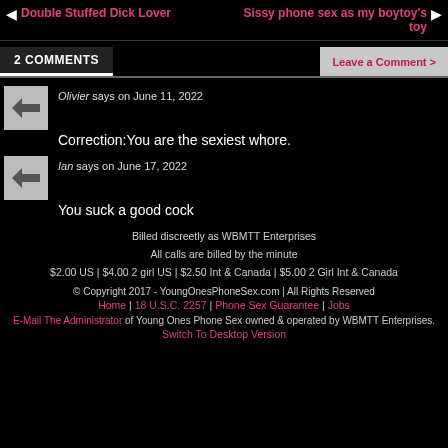◄ Double Stuffed Dick Lover   Sissy phone sex as my boytoy's toy ►
2 COMMENTS   Leave a Comment >
Olivier says on June 11, 2022
Correction:You are the sexiest whore.
Ian says on June 17, 2022
You suck a good cock
Billed discreetly as WBMTT Enterprises
All calls are billed by the minute
$2.00 US | $4.00 2 girl US | $2.50 Int & Canada | $5.00 2 Girl Int & Canada
© Copyright 2017 - YoungOnesPhoneSex.com | All Rights Reserved
Home | 18 U.S.C. 2257 | Phone Sex Guarantee | Jobs
E-Mail The Administrator of Young Ones Phone Sex owned & operated by WBMTT Enterprises.
Switch To Desktop Version